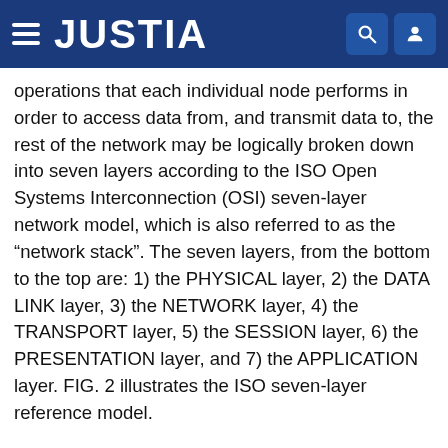JUSTIA
operations that each individual node performs in order to access data from, and transmit data to, the rest of the network may be logically broken down into seven layers according to the ISO Open Systems Interconnection (OSI) seven-layer network model, which is also referred to as the “network stack”. The seven layers, from the bottom to the top are: 1) the PHYSICAL layer, 2) the DATA LINK layer, 3) the NETWORK layer, 4) the TRANSPORT layer, 5) the SESSION layer, 6) the PRESENTATION layer, and 7) the APPLICATION layer. FIG. 2 illustrates the ISO seven-layer reference model.
The PHYSICAL layer, or physical link layer, or PHY, is concerned with transmission of unstructured bit stream traffic over physical media, and relates to the mechanical, electrical, functional, and procedural characteristics to access and receive data from the